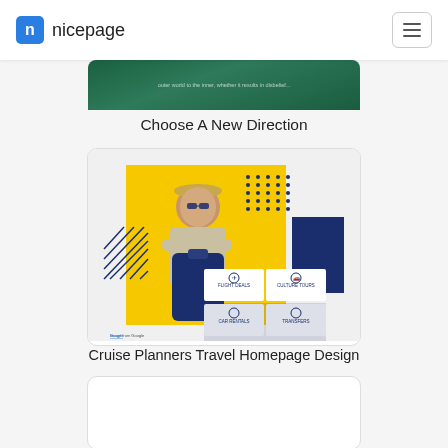nicepage
[Figure (screenshot): Partially visible dark green card image with small white text]
Choose A New Direction
[Figure (screenshot): Cruise Planners Travel Homepage Design - travel website template with woman leaning on suitcase, yellow background, flight deals, culture tours, car rentals, transfers icons]
Cruise Planners Travel Homepage Design
[Figure (screenshot): Partially visible white card at bottom of page]